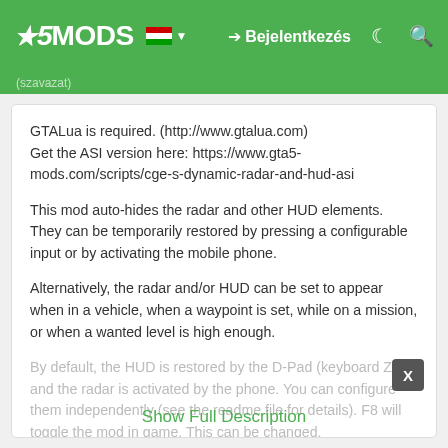5MODS | Bejelentkezés
(szavazat)
GTALua is required. (http://www.gtalua.com)
Get the ASI version here: https://www.gta5-mods.com/scripts/cge-s-dynamic-radar-and-hud-asi

This mod auto-hides the radar and other HUD elements. They can be temporarily restored by pressing a configurable input or by activating the mobile phone.

Alternatively, the radar and/or HUD can be set to appear when in a vehicle, when a waypoint is set, while on a mission, or when a wanted level is high enough.

By default, the HUD is restored by the D-Pad (keyboard Z) and the radar is activated by the phone. You can configure them independently (see the readme file for details). F8 will toggle the mod in game. This can be changed.
Show Full Description